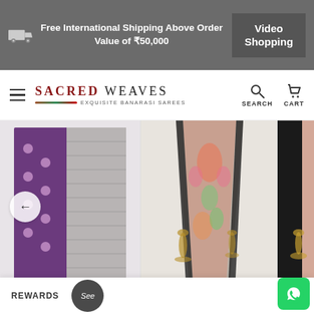Free International Shipping Above Order Value of ₹50,000   Video Shopping
[Figure (screenshot): Sacred Weaves website navbar with hamburger menu, logo, search and cart icons]
[Figure (photo): Three product cards in a carousel showing Banarasi sarees: left card (partially visible) shows a purple silk saree, center card shows Wine Paithani Katan Silk Handloom Banarasi Saree with decorative brass figurine, right card (partially visible) shows another Wine Paithani saree. Left and right navigation arrows are visible.]
la Katan Silk
n Banarasi
ree
Wine Paithani Katan Silk Handloom Banarasi Saree
Wine Paitha
Handloom
Sar
9c
Rs. 58,170.00
REWARDS
See